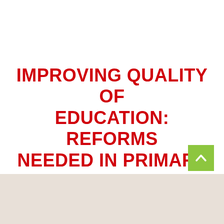IMPROVING QUALITY OF EDUCATION: REFORMS NEEDED IN PRIMARY SCHOOL CURRICULUM IN THE MENA REGION
[Figure (photo): Blurred photograph of students (seen from behind) in a classroom setting, with a whiteboard or presentation board visible in the background.]